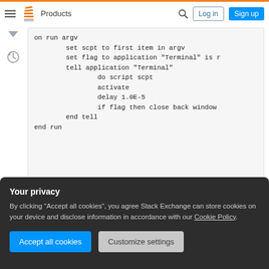Stack Overflow navigation bar with Products, Log in, Sign up
[Figure (screenshot): Code block showing AppleScript snippet: on run argv / set scpt to first item in argv / set flag to application "Terminal" is r... / tell application "Terminal" / do script scpt / activate / delay 1.0E-5 / if flag then close back window / end tell / end run]
Or this also works
Your privacy
By clicking "Accept all cookies", you agree Stack Exchange can store cookies on your device and disclose information in accordance with our Cookie Policy.
Accept all cookies | Customize settings